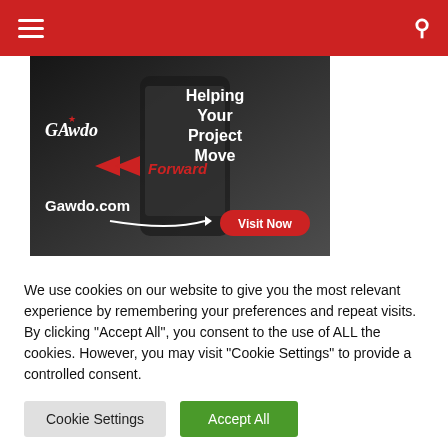Navigation header with hamburger menu and search icon
[Figure (advertisement): Gawdo.com advertisement banner showing a hand holding a smartphone with text 'Helping Your Project Move Forward', logo 'GAWdo', URL 'Gawdo.com', and a 'Visit Now' call-to-action button]
We use cookies on our website to give you the most relevant experience by remembering your preferences and repeat visits. By clicking "Accept All", you consent to the use of ALL the cookies. However, you may visit "Cookie Settings" to provide a controlled consent.
Cookie Settings | Accept All